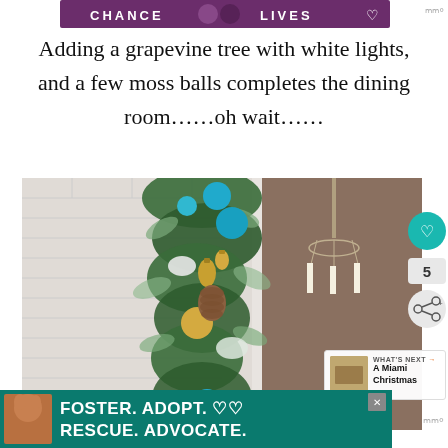[Figure (photo): Top advertisement banner with purple background showing cats]
Adding a grapevine tree with white lights, and a few moss balls completes the dining room……oh wait……
[Figure (photo): A decorated Christmas grapevine tree with teal/blue and gold ornaments, pine cones, eucalyptus greenery, and white flowers, displayed indoors with white brick wall and chandelier in background]
[Figure (photo): Bottom advertisement banner: FOSTER. ADOPT. RESCUE. ADVOCATE. with dog image on teal background]